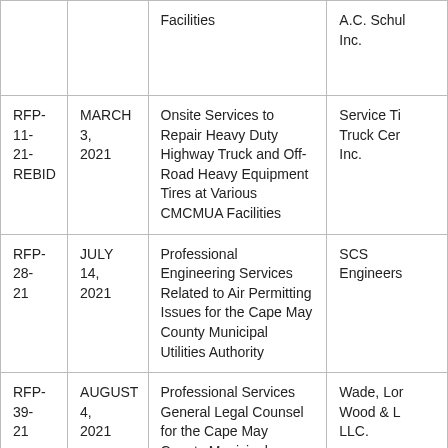| RFP # | Date | Description | Vendor |
| --- | --- | --- | --- |
|  |  | Facilities | A.C. Schul Inc. |
| RFP-11-21-REBID | MARCH 3, 2021 | Onsite Services to Repair Heavy Duty Highway Truck and Off-Road Heavy Equipment Tires at Various CMCMUA Facilities | Service Ti Truck Cer Inc. |
| RFP-28-21 | JULY 14, 2021 | Professional Engineering Services Related to Air Permitting Issues for the Cape May County Municipal Utilities Authority | SCS Engineers |
| RFP-39-21 | AUGUST 4, 2021 | Professional Services General Legal Counsel for the Cape May County Municipal Utilities Authority | Wade, Lor Wood & L LLC. |
|  |  | Professional Services |  |